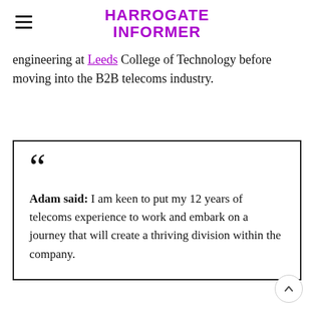HARROGATE INFORMER
engineering at Leeds College of Technology before moving into the B2B telecoms industry.
Adam said: I am keen to put my 12 years of telecoms experience to work and embark on a journey that will create a thriving division within the company.